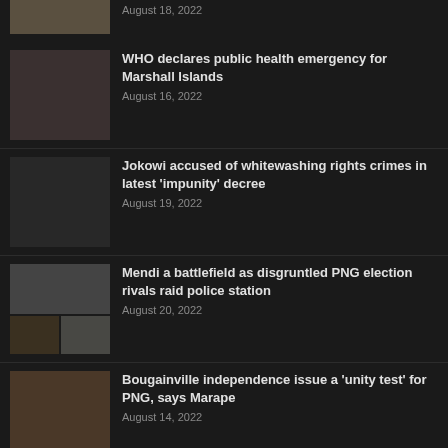August 18, 2022
WHO declares public health emergency for Marshall Islands — August 16, 2022
Jokowi accused of whitewashing rights crimes in latest 'impunity' decree — August 19, 2022
Mendi a battlefield as disgruntled PNG election rivals raid police station — August 20, 2022
Bougainville independence issue a 'unity test' for PNG, says Marape — August 14, 2022